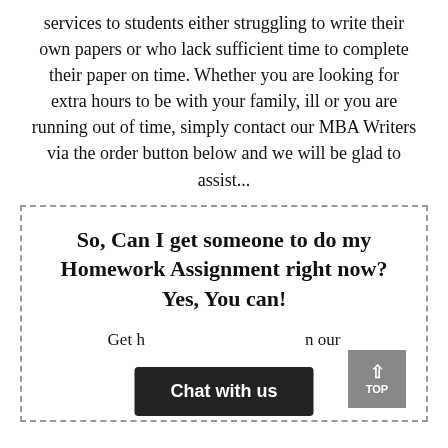services to students either struggling to write their own papers or who lack sufficient time to complete their paper on time. Whether you are looking for extra hours to be with your family, ill or you are running out of time, simply contact our MBA Writers via the order button below and we will be glad to assist...
So, Can I get someone to do my Homework Assignment right now? Yes, You can!
Get h... m our